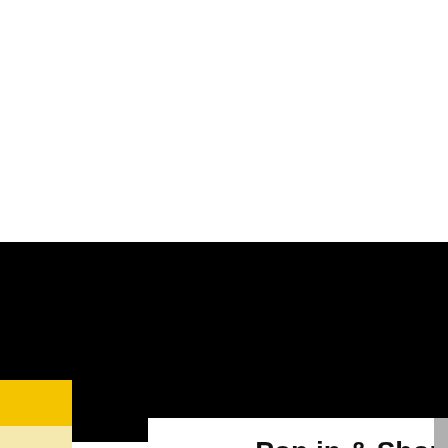This website uses cookies to ensure you get the best experience on our website.
Learn more
[Figure (infographic): Advertisement banner: Pop in & Shop New Arrivals - World Market, with a red navigation arrow icon]
[Figure (infographic): Play and close icons at bottom of advertisement]